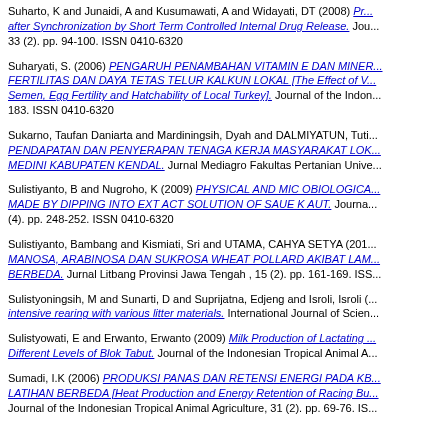Suharto, K and Junaidi, A and Kusumawati, A and Widayati, DT (2008) Pregnancy Rate of Beef Cattle after Synchronization by Short Term Controlled Internal Drug Release. Journal of the Indonesian Tropical Animal Agriculture, 33 (2). pp. 94-100. ISSN 0410-6320
Suharyati, S. (2006) PENGARUH PENAMBAHAN VITAMIN E DAN MINERAL Zn TERHADAP KUALITAS SEMEN, FERTILITAS DAN DAYA TETAS TELUR KALKUN LOKAL [The Effect of Vitamin E and Zinc Supplementation on Semen, Egg Fertility and Hatchability of Local Turkey]. Journal of the Indonesian Tropical Animal Agriculture, 31 (3). pp. 176-183. ISSN 0410-6320
Sukarno, Taufan Daniarta and Mardiningsih, Dyah and DALMIYATUN, Tutik ANALISIS PENDAPATAN DAN PENYERAPAN TENAGA KERJA MASYARAKAT LOKAL DI KAWASAN MEDINI KABUPATEN KENDAL. Jurnal Mediagro Fakultas Pertanian Universitas Wahid Hasyim.
Sulistiyanto, B and Nugroho, K (2009) PHYSICAL AND MIC OBIOLOGICAL QUALITY OF PALM TOFU MADE BY DIPPING INTO EXT ACT SOLUTION OF SAUE K AUT. Journal of the Indonesian Tropical Animal Agriculture, (4). pp. 248-252. ISSN 0410-6320
Sulistiyanto, Bambang and Kismiati, Sri and UTAMA, CAHYA SETYA (2012) KANDUNGAN MANOSA, ARABINOSA DAN SUKROSA WHEAT POLLARD AKIBAT LAMA FERMENTASI YANG BERBEDA. Jurnal Litbang Provinsi Jawa Tengah , 15 (2). pp. 161-169. ISSN
Sulistyoningsih, M and Sunarti, D and Suprijatna, Edjeng and Isroli, Isroli intensive rearing with various litter materials. International Journal of Science...
Sulistyowati, E and Erwanto, Erwanto (2009) Milk Production of Lactating ... Different Levels of Blok Tabut. Journal of the Indonesian Tropical Animal A...
Sumadi, I.K (2006) PRODUKSI PANAS DAN RETENSI ENERGI PADA KB... LATIHAN BERBEDA [Heat Production and Energy Retention of Racing Bu... Journal of the Indonesian Tropical Animal Agriculture, 31 (2). pp. 69-76. IS...